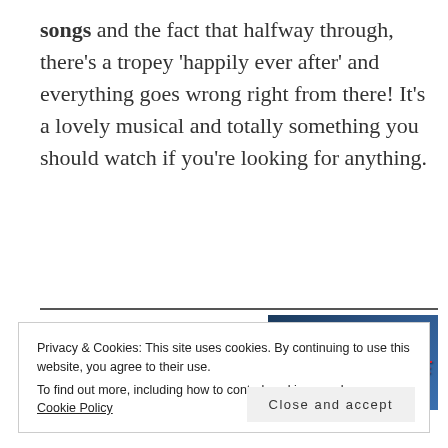songs and the fact that halfway through, there's a tropey 'happily ever after' and everything goes wrong right from there! It's a lovely musical and totally something you should watch if you're looking for anything.
[Figure (photo): Mrs. Doubtfire movie poster — dark blue background with red bold italic title text 'MRS. DOUBTFIRE' and actor names 'ROBIN WILLIAMS' and 'SALLY FIELD' in gray above]
Privacy & Cookies: This site uses cookies. By continuing to use this website, you agree to their use.
To find out more, including how to control cookies, see here: Cookie Policy
Close and accept